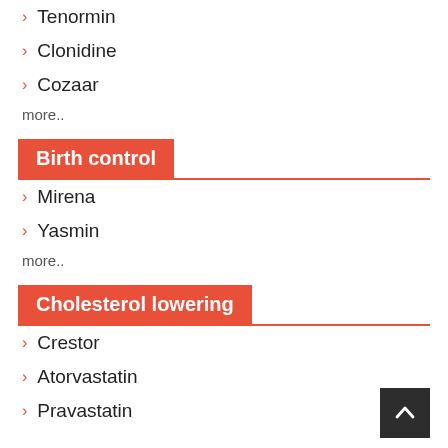Tenormin
Clonidine
Cozaar
more..
Birth control
Mirena
Yasmin
more..
Cholesterol lowering
Crestor
Atorvastatin
Pravastatin